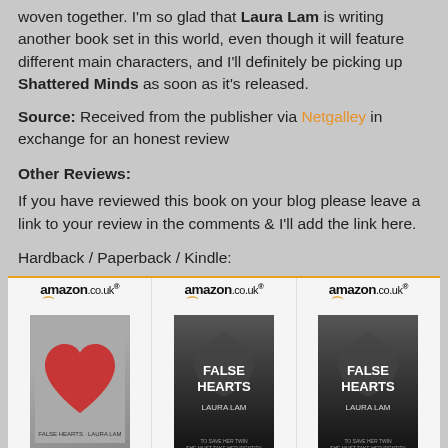woven together. I'm so glad that Laura Lam is writing another book set in this world, even though it will feature different main characters, and I'll definitely be picking up Shattered Minds as soon as it's released.
Source: Received from the publisher via Netgalley in exchange for an honest review
Other Reviews:
If you have reviewed this book on your blog please leave a link to your review in the comments & I'll add the link here.
Hardback / Paperback / Kindle:
[Figure (screenshot): Three Amazon.co.uk product listing images for 'False Hearts' by Laura Lam, shown side by side. Each has an amazon.co.uk logo at top and the book cover below, followed by the text 'False Hearts' as a link.]